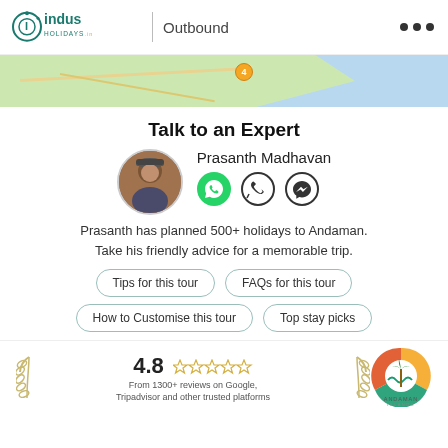Indus Holidays Outbound
[Figure (map): Partial map strip showing coastline and road with location marker numbered 4]
Talk to an Expert
Prasanth Madhavan
[Figure (photo): Circular profile photo of Prasanth Madhavan with WhatsApp, phone call, and Messenger icons]
Prasanth has planned 500+ holidays to Andaman. Take his friendly advice for a memorable trip.
Tips for this tour
FAQs for this tour
How to Customise this tour
Top stay picks
4.8 From 1300+ reviews on Google, Tripadvisor and other trusted platforms
[Figure (logo): Andaman Islands tourism logo with colorful circular design and palm tree]